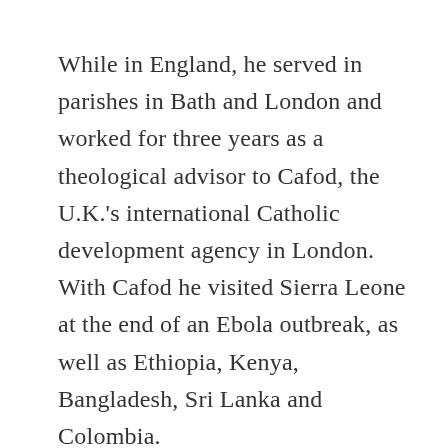While in England, he served in parishes in Bath and London and worked for three years as a theological advisor to Cafod, the U.K.'s international Catholic development agency in London. With Cafod he visited Sierra Leone at the end of an Ebola outbreak, as well as Ethiopia, Kenya, Bangladesh, Sri Lanka and Colombia.
Read more from America
[Figure (photo): Photo of Pope Francis in white vestments, gesturing with hand raised]
Pope Francis to give women a role in choosing...
Cindy Wooden - Catholic News Service